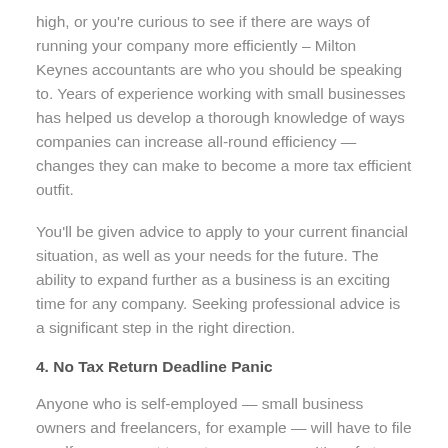high, or you're curious to see if there are ways of running your company more efficiently – Milton Keynes accountants are who you should be speaking to. Years of experience working with small businesses has helped us develop a thorough knowledge of ways companies can increase all-round efficiency — changes they can make to become a more tax efficient outfit.
You'll be given advice to apply to your current financial situation, as well as your needs for the future. The ability to expand further as a business is an exciting time for any company. Seeking professional advice is a significant step in the right direction.
4. No Tax Return Deadline Panic
Anyone who is self-employed — small business owners and freelancers, for example — will have to file a self-assessment tax return every year. It's safe to say you'd be hard pressed to find someone who enjoys the process, but